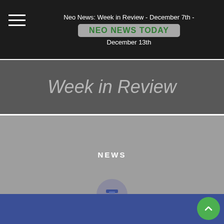Neo News: Week in Review - December 7th - December 13th
[Figure (logo): NEO NEWS TODAY logo in green text on gray pill-shaped background]
Week in Review
[Figure (infographic): Gray placeholder image with NEWS label in center]
NEXT POST
Nash integrates trading terminal by Margin providing free access to trading bots and technical indicators
[Figure (logo): Terminal by Margin logo on blue background]